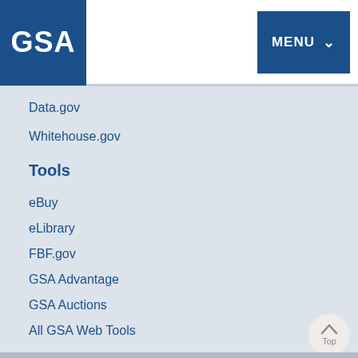GSA  MENU
Data.gov
Whitehouse.gov
Tools
eBuy
eLibrary
FBF.gov
GSA Advantage
GSA Auctions
All GSA Web Tools